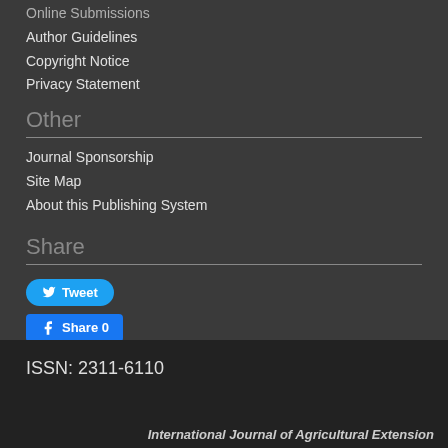Online Submissions
Author Guidelines
Copyright Notice
Privacy Statement
Other
Journal Sponsorship
Site Map
About this Publishing System
Share
[Figure (other): Tweet button (Twitter/X social share button in blue)]
[Figure (other): Facebook Share 0 button in blue]
ISSN: 2311-6110
International Journal of Agricultural Extension